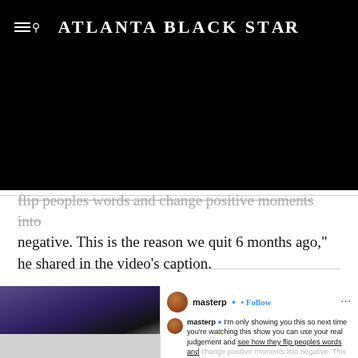Atlanta Black Star
[Figure (photo): Black rectangle covering the video area behind the article header]
flip peoples words and change positive moments into negative. This is the reason we quit 6 months ago," he shared in the video's caption.
[Figure (screenshot): Instagram post by masterp showing a video still of a man in a dark suit and sunglasses, alongside Instagram UI with username masterp, verified badge, Follow button, and caption text: I'm only showing you this so next time you're watching this show you can use your real judgement and see how they flip peoples words and change positive moments into negative. This is the reason we quit 6 months ago. They edit for drama, we have more important things to worry about than fake producers creating fake love stories.]